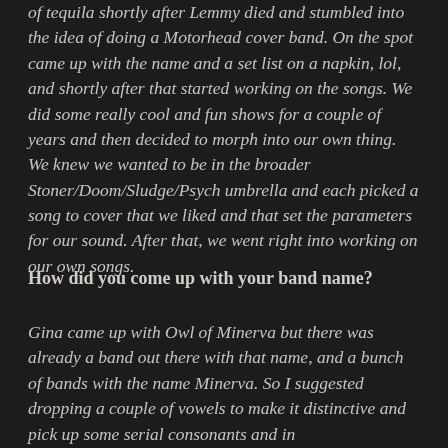of tequila shortly after Lemmy died and stumbled into the idea of doing a Motorhead cover band. On the spot came up with the name and a set list on a napkin, lol, and shortly after that started working on the songs. We did some really cool and fun shows for a couple of years and then decided to morph into our own thing. We knew we wanted to be in the broader Stoner/Doom/Sludge/Psych umbrella and each picked a song to cover that we liked and that set the parameters for our sound. After that, we went right into working on our own songs.
How did you come up with your band name?
Gina came up with Owl of Minerva but there was already a band out there with that name, and a bunch of bands with the name Minerva. So I suggested dropping a couple of vowels to make it distinctive and pick up some serial consonants and in